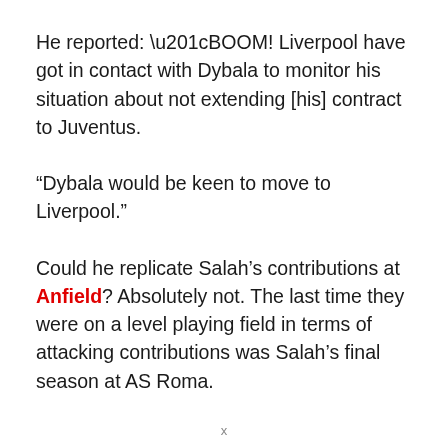He reported: “BOOM! Liverpool have got in contact with Dybala to monitor his situation about not extending [his] contract to Juventus.
“Dybala would be keen to move to Liverpool.”
Could he replicate Salah’s contributions at Anfield? Absolutely not. The last time they were on a level playing field in terms of attacking contributions was Salah’s final season at AS Roma.